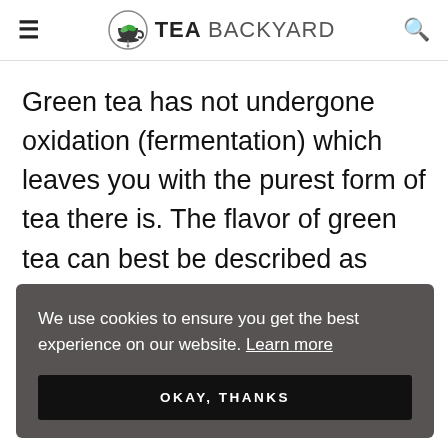TEA BACKYARD
Green tea has not undergone oxidation (fermentation) which leaves you with the purest form of tea there is. The flavor of green tea can best be described as earthy, vegetal, grassy, sweet, and hints of floral.
We use cookies to ensure you get the best experience on our website. Learn more
OKAY, THANKS
…ocess of …ellow oxidation. A cup of either of these teas will give